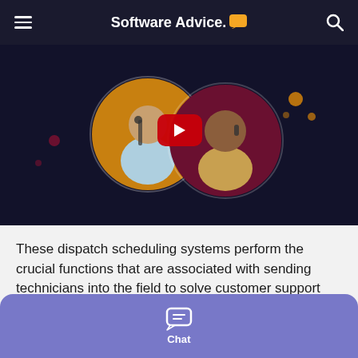Software Advice.
[Figure (screenshot): Video thumbnail showing two people in circular frames on dark background with a YouTube-style red play button in the center. Left circle has man with headset on orange background, right circle has woman on phone on dark red/maroon background.]
These dispatch scheduling systems perform the crucial functions that are associated with sending technicians into the field to solve customer support issues that can't be handled remotely. This covers myriad industries including construction, plumbing, HVAC, carpet cleaning
[Figure (other): Purple/lavender chat bar at bottom with chat bubble icon and 'Chat' label]